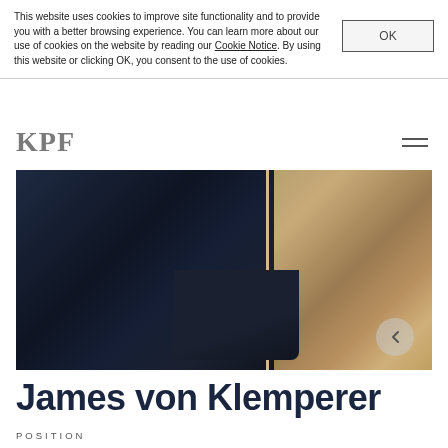This website uses cookies to improve site functionality and to provide you with a better browsing experience. You can learn more about our use of cookies on the website by reading our Cookie Notice. By using this website or clicking OK, you consent to the use of cookies.
[Figure (logo): KPF logo text in gray serif font]
[Figure (photo): Close-up photo of a person in a dark navy suit with hands resting on a table, partial view of torso and hands]
James von Klemperer
POSITION